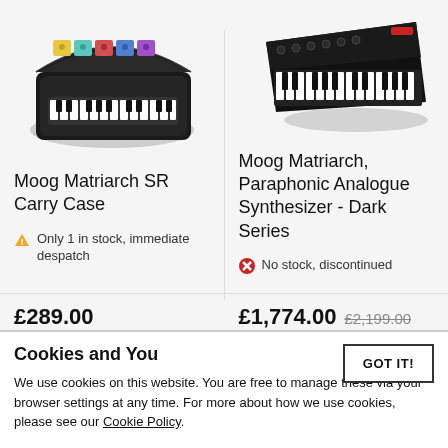[Figure (photo): Moog Matriarch SR Carry Case product photo - a black keyboard carry case with colorful synthesizer inside, open lid view]
[Figure (photo): Moog Matriarch, Paraphonic Analogue Synthesizer - Dark Series product photo - black synthesizer keyboard at an angle]
Moog Matriarch SR Carry Case
Only 1 in stock, immediate despatch
£289.00
Moog Matriarch, Paraphonic Analogue Synthesizer - Dark Series
No stock, discontinued
£1,774.00 £2,199.00
Cookies and You
We use cookies on this website. You are free to manage these via your browser settings at any time. For more about how we use cookies, please see our Cookie Policy.